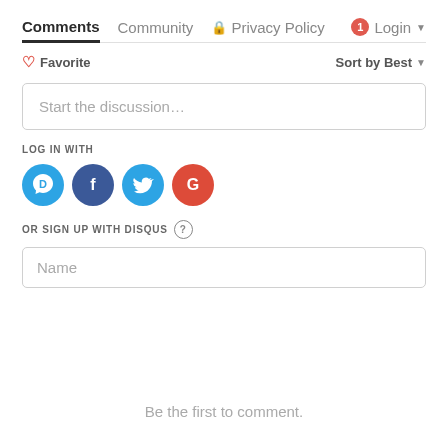Comments   Community   Privacy Policy   1   Login
♡ Favorite   Sort by Best
Start the discussion…
LOG IN WITH
[Figure (infographic): Four social login icons: Disqus (blue speech bubble with D), Facebook (dark blue circle with F), Twitter (light blue circle with bird), Google (red circle with G)]
OR SIGN UP WITH DISQUS ?
Name
Be the first to comment.